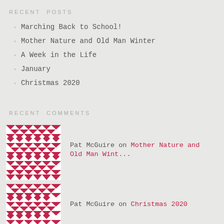RECENT POSTS
Marching Back to School!
Mother Nature and Old Man Winter
A Week in the Life
January
Christmas 2020
RECENT COMMENTS
Pat McGuire on Mother Nature and Old Man Wint...
Pat McGuire on Christmas 2020
Adapt, Create, Nurtu... on Basil in the Bedroom
Gina on Fifty Bucks: The Breakdown